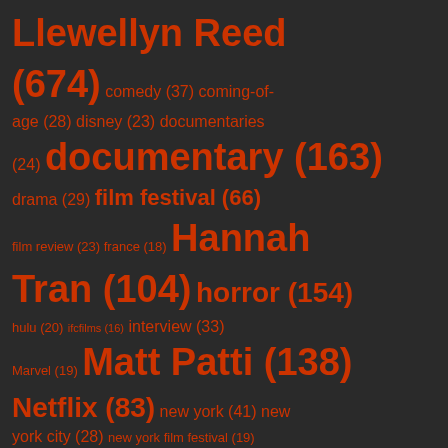Llewellyn Reed (674) comedy (37) coming-of-age (28) disney (23) documentaries (24) documentary (163) drama (29) film festival (66) film review (23) france (18) Hannah Tran (104) horror (154) hulu (20) ifcfilms (16) interview (33) Marvel (19) Matt Patti (138) Netflix (83) new york (41) new york city (28) new york film festival (19) Patrick Howard (75) racism (19) Robin C. Farrell (35) romance (28) sci-fi (20) science fiction (31) series (25) Shudder (30) sundance (72)